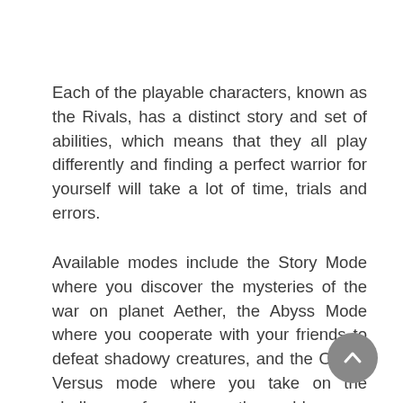Each of the playable characters, known as the Rivals, has a distinct story and set of abilities, which means that they all play differently and finding a perfect warrior for yourself will take a lot of time, trials and errors.
Available modes include the Story Mode where you discover the mysteries of the war on planet Aether, the Abyss Mode where you cooperate with your friends to defeat shadowy creatures, and the Online Versus mode where you take on the challengers from all over the world.
Just like Shovel Knight, Rivals of Aether